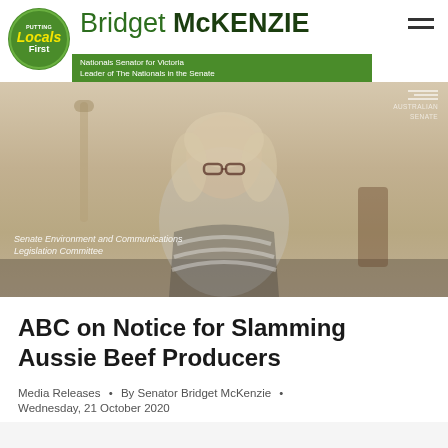Bridget McKENZIE — Nationals Senator for Victoria, Leader of The Nationals in the Senate
[Figure (photo): Photo of Senator Bridget McKenzie seated at a committee table wearing a black and white striped top, with text overlay reading 'Senate Environment and Communications Legislation Committee']
ABC on Notice for Slamming Aussie Beef Producers
Media Releases • By Senator Bridget McKenzie • Wednesday, 21 October 2020